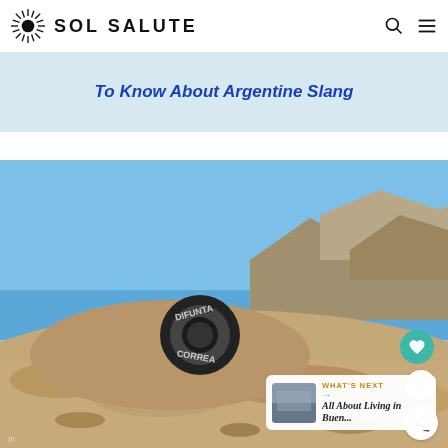SOL SALUTE
To Know About Argentine Slang
[Figure (photo): A black rubber tire with 'DIFUNTA CORREA' written on it, sitting on a rocky hillside with mountains and blue sky in the background. Desert landscape in Argentina.]